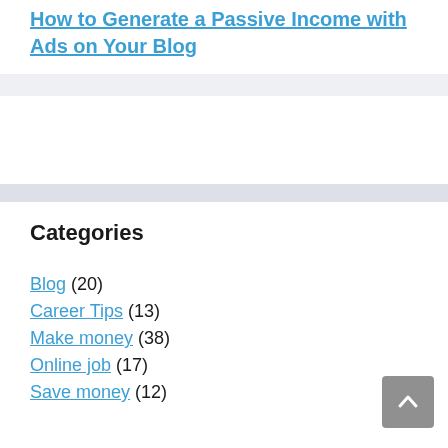How to Generate a Passive Income with Ads on Your Blog
Categories
Blog (20)
Career Tips (13)
Make money (38)
Online job (17)
Save money (12)